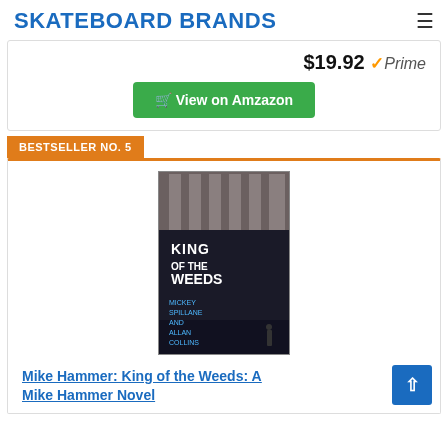SKATEBOARD BRANDS
$19.92 Prime
View on Amzazon
BESTSELLER NO. 5
[Figure (photo): Book cover of 'King of the Weeds' by Mickey Spillane and Allan Collins, showing a dark urban street scene with white and blue text]
Mike Hammer: King of the Weeds: A Mike Hammer Novel